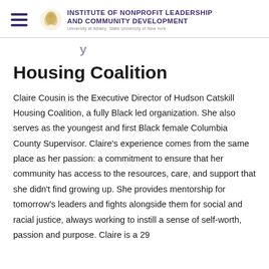Institute of Nonprofit Leadership and Community Development — University at Albany, State University of New York
Housing Coalition
Claire Cousin is the Executive Director of Hudson Catskill Housing Coalition, a fully Black led organization. She also serves as the youngest and first Black female Columbia County Supervisor. Claire's experience comes from the same place as her passion: a commitment to ensure that her community has access to the resources, care, and support that she didn't find growing up. She provides mentorship for tomorrow's leaders and fights alongside them for social and racial justice, always working to instill a sense of self-worth, passion and purpose. Claire is a 29